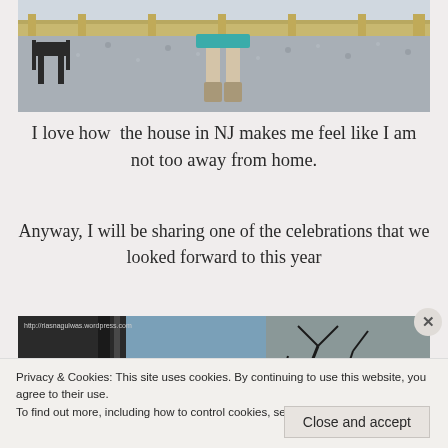[Figure (photo): Partial photo of a person standing on gravel/pebble ground wearing boots and a teal dress, with a metal chair visible on the left and a wooden fence in the background.]
I love how  the house in NJ makes me feel like I am not too away from home.
Anyway, I will be sharing one of the celebrations that we looked forward to this year
[Figure (photo): Partially visible photo of a building exterior with a URL watermark reading http://riasnagulwas.wordpress.com]
Privacy & Cookies: This site uses cookies. By continuing to use this website, you agree to their use.
To find out more, including how to control cookies, see here: Cookie Policy
Close and accept